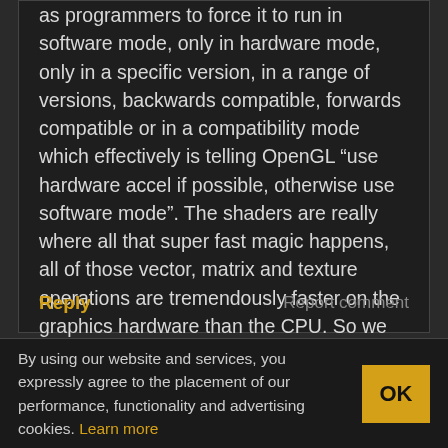as programmers to force it to run in software mode, only in hardware mode, only in a specific version, in a range of versions, backwards compatible, forwards compatible or in a compatibility mode which effectively is telling OpenGL “use hardware accel if possible, otherwise use software mode”. The shaders are really where all that super fast magic happens, all of those vector, matrix and texture operations are tremendously faster on the graphics hardware than the CPU. So we call it hardware accelerated when really what we mean is “runs on hardware specifically designed to do this”.
Reply
Report comment
By using our website and services, you expressly agree to the placement of our performance, functionality and advertising cookies. Learn more